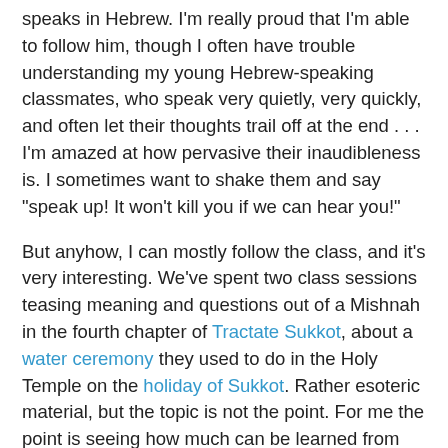speaks in Hebrew. I'm really proud that I'm able to follow him, though I often have trouble understanding my young Hebrew-speaking classmates, who speak very quietly, very quickly, and often let their thoughts trail off at the end . . . I'm amazed at how pervasive their inaudibleness is. I sometimes want to shake them and say "speak up! It won't kill you if we can hear you!"
But anyhow, I can mostly follow the class, and it's very interesting. We've spent two class sessions teasing meaning and questions out of a Mishnah in the fourth chapter of Tractate Sukkot, about a water ceremony they used to do in the Holy Temple on the holiday of Sukkot. Rather esoteric material, but the topic is not the point. For me the point is seeing how much can be learned from just 15 or so lines of text, the contradictions in logic that emerge, and how commentators attempt to reconcile them. We've already gone through so many threads of commentary, my head is spinning. But, yes, this is my idea of fun!
Also, an unexpected benefit is that Rav Ehrenreich is so grandfatherly, I just have this temptation to bring him hot